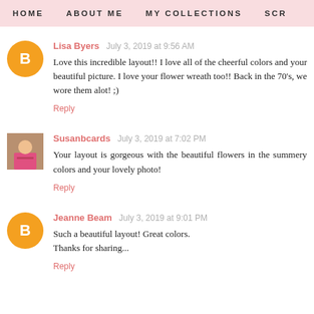HOME    ABOUT ME    MY COLLECTIONS    SCR
Lisa Byers  July 3, 2019 at 9:56 AM
Love this incredible layout!! I love all of the cheerful colors and your beautiful picture. I love your flower wreath too!! Back in the 70's, we wore them alot! ;)
Reply
Susanbcards  July 3, 2019 at 7:02 PM
Your layout is gorgeous with the beautiful flowers in the summery colors and your lovely photo!
Reply
Jeanne Beam  July 3, 2019 at 9:01 PM
Such a beautiful layout! Great colors.
Thanks for sharing...
Reply